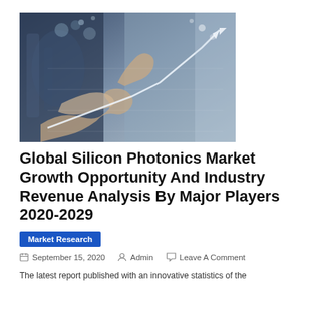[Figure (photo): A hand pointing upward at a glowing arrow chart rising sharply, with a dark blue-gray industrial background — illustrating market growth.]
Global Silicon Photonics Market Growth Opportunity And Industry Revenue Analysis By Major Players 2020-2029
Market Research
September 15, 2020   Admin   Leave A Comment
The latest report published with an innovative statistics of the